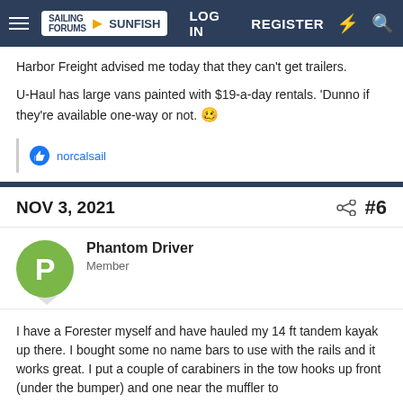Sailing Sunfish Forums — LOG IN   REGISTER
Harbor Freight advised me today that they can't get trailers.
U-Haul has large vans painted with $19-a-day rentals. 'Dunno if they're available one-way or not. 🥴
👍 norcalsail
NOV 3, 2021   #6
Phantom Driver
Member
I have a Forester myself and have hauled my 14 ft tandem kayak up there. I bought some no name bars to use with the rails and it works great. I put a couple of carabiners in the tow hooks up front (under the bumper) and one near the muffler to